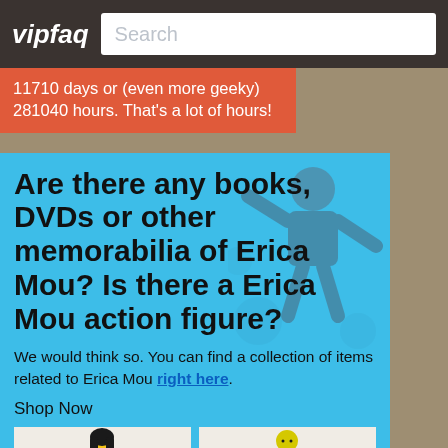vipfaq | Search
11710 days or (even more geeky) 281040 hours. That's a lot of hours!
Are there any books, DVDs or other memorabilia of Erica Mou? Is there a Erica Mou action figure?
We would think so. You can find a collection of items related to Erica Mou right here.
Shop Now
[Figure (illustration): Two product thumbnail images showing action figure illustrations of Erica Mou]